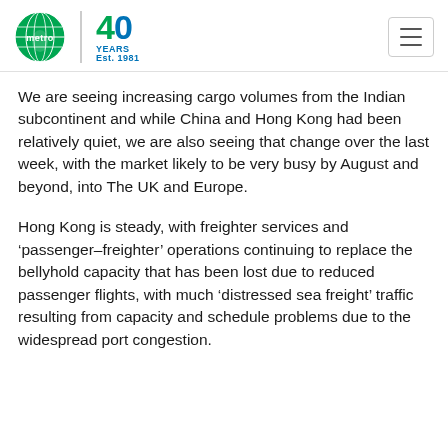Metro 40 Years Est. 1981
We are seeing increasing cargo volumes from the Indian subcontinent and while China and Hong Kong had been relatively quiet, we are also seeing that change over the last week, with the market likely to be very busy by August and beyond, into The UK and Europe.
Hong Kong is steady, with freighter services and ‘passenger-freighter’ operations continuing to replace the bellyhold capacity that has been lost due to reduced passenger flights, with much ‘distressed sea freight’ traffic resulting from capacity and schedule problems due to the widespread port congestion.